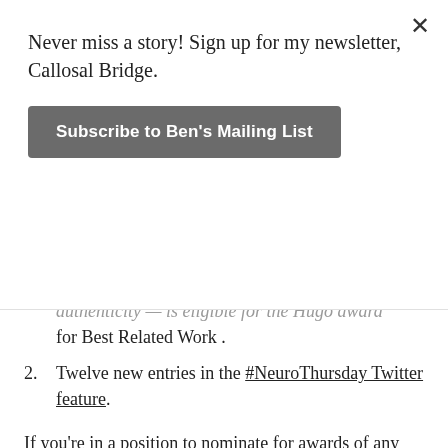Never miss a story! Sign up for my newsletter, Callosal Bridge.
Subscribe to Ben's Mailing List
authenticity — is eligible for the Hugo award for Best Related Work .
2. Twelve new entries in the #NeuroThursday Twitter feature.
If you're in a position to nominate for awards of any kind, I hope you'll consider not only these fine works, but the whole team over at Escape Pod. We work hard every week to bring you the finest in audio fiction, and we'll be eligible once again for the Hugo Award for Best Semiprozine. We also published a lot of awesome stories, so take a look back at that list and see if one of them feels worthy